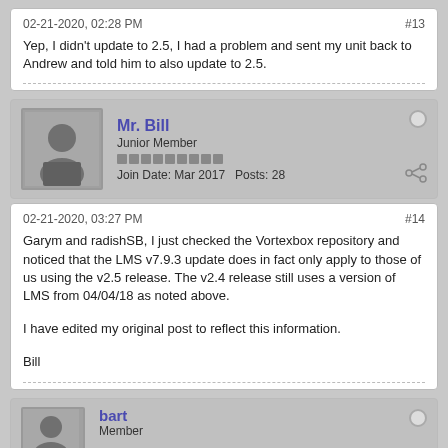02-21-2020, 02:28 PM
#13
Yep, I didn't update to 2.5, I had a problem and sent my unit back to Andrew and told him to also update to 2.5.
Mr. Bill
Junior Member
Join Date: Mar 2017   Posts: 28
02-21-2020, 03:27 PM
#14
Garym and radishSB, I just checked the Vortexbox repository and noticed that the LMS v7.9.3 update does in fact only apply to those of us using the v2.5 release. The v2.4 release still uses a version of LMS from 04/04/18 as noted above.
I have edited my original post to reflect this information.
Bill
bart
Member